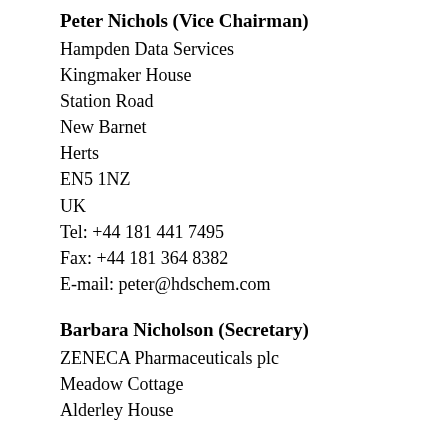Peter Nichols (Vice Chairman)
Hampden Data Services
Kingmaker House
Station Road
New Barnet
Herts
EN5 1NZ
UK
Tel: +44 181 441 7495
Fax: +44 181 364 8382
E-mail: peter@hdschem.com
Barbara Nicholson (Secretary)
ZENECA Pharmaceuticals plc
Meadow Cottage
Alderley House